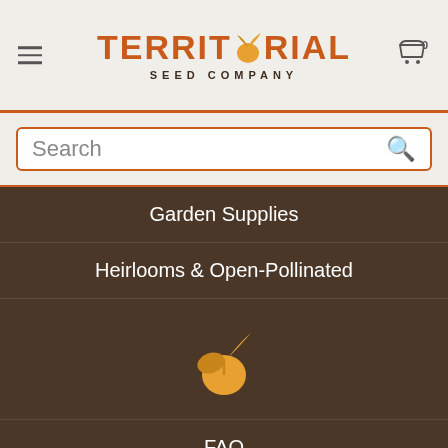[Figure (logo): Territorial Seed Company logo with orange seed sprout icon in the word TERRITORIAL and subtitle SEED COMPANY]
[Figure (screenshot): Search bar with orange border containing placeholder text Search and a magnifying glass icon]
Garden Supplies
Heirlooms & Open-Pollinated
[Figure (logo): Territorial Seed Company yellow/gold seed sprout logo mark]
FAQ
Ordering Terms & Conditions
Downloadable Orderform